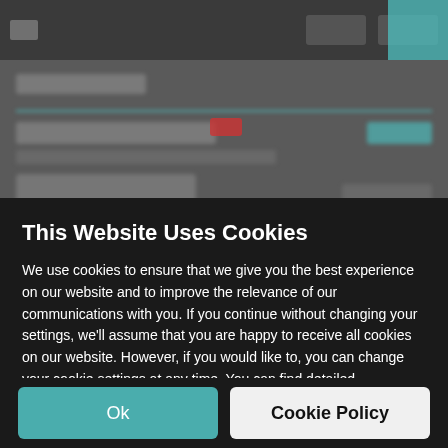[Figure (screenshot): Blurred background of a website product listing page with dark top navigation bar, teal accent colors, a product title, price, product image thumbnail, and a red badge element]
This Website Uses Cookies
We use cookies to ensure that we give you the best experience on our website and to improve the relevance of our communications with you. If you continue without changing your settings, we'll assume that you are happy to receive all cookies on our website. However, if you would like to, you can change your cookie settings at any time. You can find detailed information about how cookies are used on this website by clicking Cookie Policy.
Ok
Cookie Policy